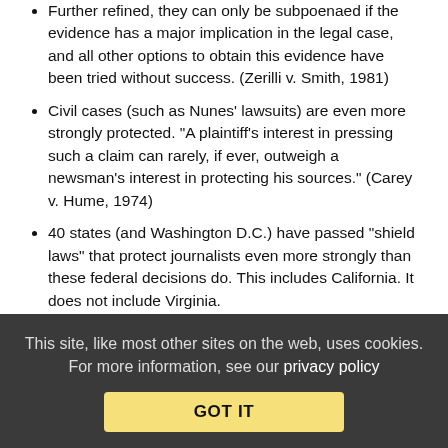Further refined, they can only be subpoenaed if the evidence has a major implication in the legal case, and all other options to obtain this evidence have been tried without success. (Zerilli v. Smith, 1981)
Civil cases (such as Nunes' lawsuits) are even more strongly protected. "A plaintiff's interest in pressing such a claim can rarely, if ever, outweigh a newsman's interest in protecting his sources." (Carey v. Hume, 1974)
40 states (and Washington D.C.) have passed "shield laws" that protect journalists even more strongly than these federal decisions do. This includes California. It does not include Virginia.
Reply | View in chronology
[Figure (other): Row of five icons: lightbulb, laughing emoji, open-quote speech bubble, close-quote speech bubble, flag]
This site, like most other sites on the web, uses cookies. For more information, see our privacy policy
GOT IT